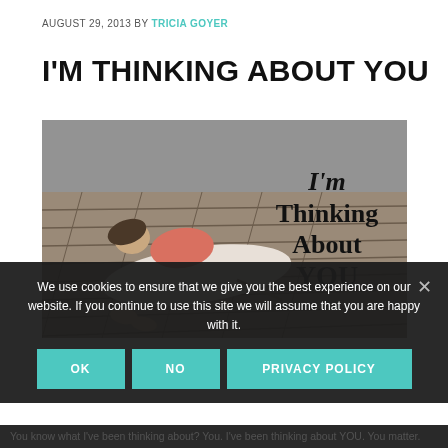AUGUST 29, 2013 BY TRICIA GOYER
I'M THINKING ABOUT YOU
[Figure (photo): Person lying on a wooden dock/boardwalk with grey water in background, overlaid with bold text reading 'I'm Thinking About YOU']
We use cookies to ensure that we give you the best experience on our website. If you continue to use this site we will assume that you are happy with it.
OK  NO  PRIVACY POLICY